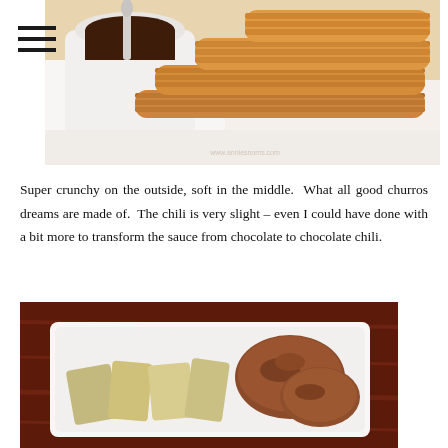[Figure (photo): Close-up photo of golden-brown churros piled on a white plate next to a white cup with dark chocolate dipping sauce and a spoon]
Super crunchy on the outside, soft in the middle.  What all good churros dreams are made of.  The chili is very slight – even I could have done with a bit more to transform the sauce from chocolate to chocolate chili.
[Figure (photo): Food photo of cooked meat pieces and potato wedges on a white rectangular plate on a dark wooden surface]